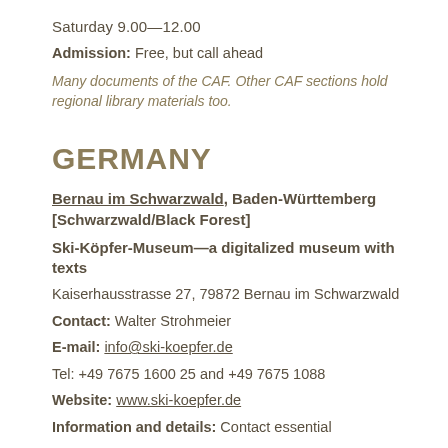Saturday 9.00—12.00
Admission: Free, but call ahead
Many documents of the CAF. Other CAF sections hold regional library materials too.
GERMANY
Bernau im Schwarzwald, Baden-Württemberg [Schwarzwald/Black Forest]
Ski-Köpfer-Museum—a digitalized museum with texts
Kaiserhausstrasse 27, 79872 Bernau im Schwarzwald
Contact: Walter Strohmeier
E-mail: info@ski-koepfer.de
Tel: +49 7675 1600 25 and +49 7675 1088
Website: www.ski-koepfer.de
Information and details: Contact essential